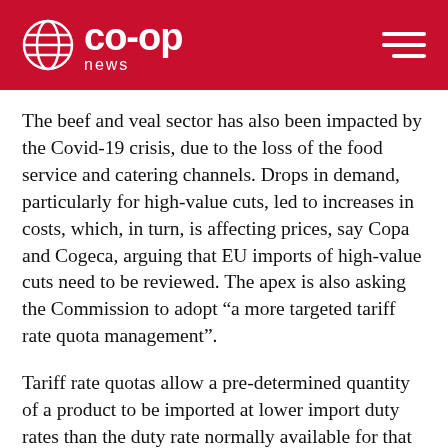co-op news
The beef and veal sector has also been impacted by the Covid-19 crisis, due to the loss of the food service and catering channels. Drops in demand, particularly for high-value cuts, led to increases in costs, which, in turn, is affecting prices, say Copa and Cogeca, arguing that EU imports of high-value cuts need to be reviewed. The apex is also asking the Commission to adopt “a more targeted tariff rate quota management”.
Tariff rate quotas allow a pre-determined quantity of a product to be imported at lower import duty rates than the duty rate normally available for that product. Copa and Cogeca say cheap cuts imported